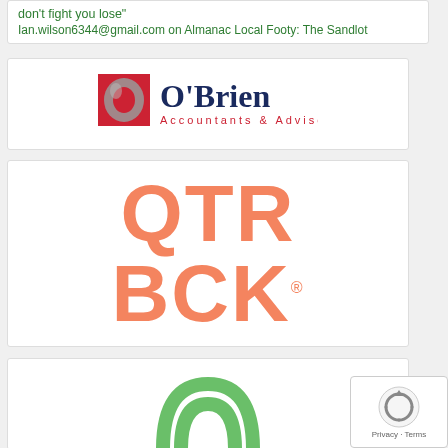don't fight you lose"
Ian.wilson6344@gmail.com on Almanac Local Footy: The Sandlot
[Figure (logo): O'Brien Accountants & Advisors logo with red square, grey ring, and dark blue text]
[Figure (logo): QTRBCK logo in salmon/coral rounded sans-serif letters]
[Figure (logo): Partial green circular logo at bottom of page]
[Figure (other): reCAPTCHA widget with grey spinning logo and Privacy/Terms text]